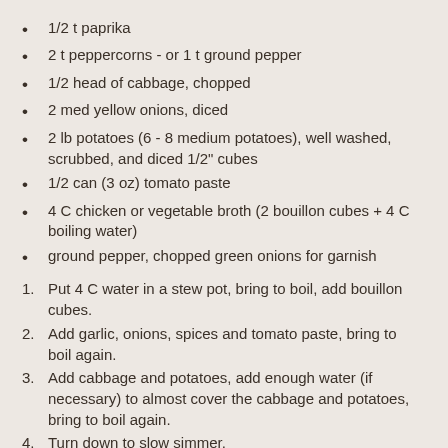1/2 t paprika
2 t peppercorns - or 1 t ground pepper
1/2 head of cabbage, chopped
2 med yellow onions, diced
2 lb potatoes (6 - 8 medium potatoes), well washed, scrubbed, and diced 1/2" cubes
1/2 can (3 oz) tomato paste
4 C chicken or vegetable broth (2 bouillon cubes + 4 C boiling water)
ground pepper, chopped green onions for garnish
1. Put 4 C water in a stew pot, bring to boil, add bouillon cubes.
2. Add garlic, onions, spices and tomato paste, bring to boil again.
3. Add cabbage and potatoes, add enough water (if necessary) to almost cover the cabbage and potatoes, bring to boil again.
4. Turn down to slow simmer.